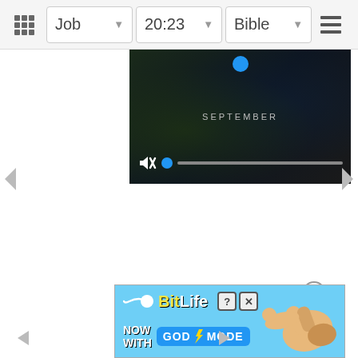Job  20:23  Bible
[Figure (screenshot): Video player showing 'SEPTEMBER' text with mute icon, blue progress dot, and progress track on dark background]
[Figure (screenshot): BitLife advertisement banner: 'BitLife NOW WITH GOD MODE' on blue background with illustrated hand pointing]